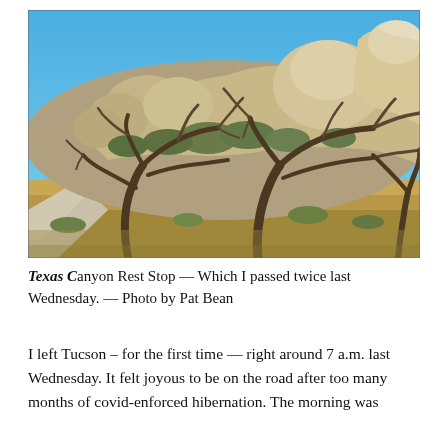[Figure (photo): Outdoor photo of Texas Canyon Rest Stop showing large rounded granite boulders on a rocky hillside with sparse desert scrub trees in the foreground, bare branching mesquite-like trees, a paved path on the left, and a bright blue sky above.]
Texas Canyon Rest Stop — Which I passed twice last Wednesday. — Photo by Pat Bean
I left Tucson – for the first time — right around 7 a.m. last Wednesday. It felt joyous to be on the road after too many months of covid-enforced hibernation. The morning was